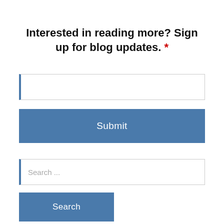Interested in reading more? Sign up for blog updates. *
[Figure (screenshot): Email input field with left blue border]
[Figure (screenshot): Submit button with blue background]
[Figure (screenshot): Search input field with placeholder text 'Search ...' and left blue border]
[Figure (screenshot): Search button with blue background]
FOLLOW US ON INSTAGRAM